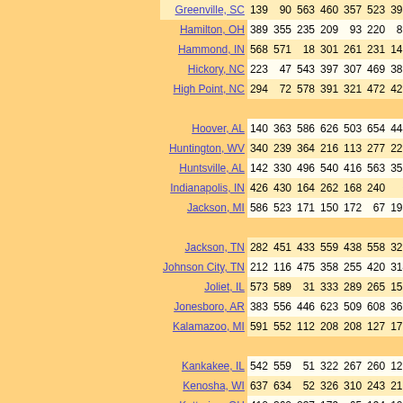| City | Col1 | Col2 | Col3 | Col4 | Col5 | Col6 | Col7 | Col8 | Col9 | Col10 |
| --- | --- | --- | --- | --- | --- | --- | --- | --- | --- | --- |
| Greenville, SC | 139 | 90 | 563 | 460 | 357 | 523 | 399 | 300 | 433 | 265 |
| Hamilton, OH | 389 | 355 | 235 | 209 | 93 | 220 | 88 | 102 | 421 | 253 |
| Hammond, IN | 568 | 571 | 18 | 301 | 261 | 231 | 146 | 252 | 470 | 378 |
| Hickory, NC | 223 | 47 | 543 | 397 | 307 | 469 | 383 | 298 | 491 | 307 |
| High Point, NC | 294 | 72 | 578 | 391 | 321 | 472 | 425 | 352 | 566 | 375 |
| Hoover, AL | 140 | 363 | 586 | 626 | 503 | 654 | 444 | 340 | 218 | 193 |
| Huntington, WV | 340 | 239 | 364 | 216 | 113 | 277 | 220 | 180 | 477 | 285 |
| Huntsville, AL | 142 | 330 | 496 | 540 | 416 | 563 | 351 | 248 | 193 | 102 |
| Indianapolis, IN | 426 | 430 | 164 | 262 | 168 | 240 | 0 | 109 | 386 | 253 |
| Jackson, MI | 586 | 523 | 171 | 150 | 172 | 67 | 193 | 286 | 578 | 438 |
| Jackson, TN | 282 | 451 | 433 | 559 | 438 | 558 | 322 | 247 | 76 | 120 |
| Johnson City, TN | 212 | 116 | 475 | 358 | 255 | 420 | 314 | 227 | 437 | 240 |
| Joliet, IL | 573 | 589 | 31 | 333 | 289 | 265 | 159 | 261 | 455 | 377 |
| Jonesboro, AR | 383 | 556 | 446 | 623 | 509 | 608 | 369 | 319 | 63 | 215 |
| Kalamazoo, MI | 591 | 552 | 112 | 208 | 208 | 127 | 175 | 280 | 549 | 427 |
| Kankakee, IL | 542 | 559 | 51 | 322 | 267 | 260 | 129 | 229 | 431 | 340 |
| Kenosha, WI | 637 | 634 | 52 | 326 | 310 | 243 | 213 | 321 | 529 | 447 |
| Kettering, OH | 410 | 360 | 237 | 179 | 65 | 194 | 106 | 133 | 451 | 283 |
| Knoxville, TN | 155 | 183 | 452 | 399 | 282 | 445 | 289 | 184 | 346 | 155 |
| Kokomo, IN | 473 | 465 | 124 | 242 | 169 | 205 | 48 | 157 | 427 | 295 |